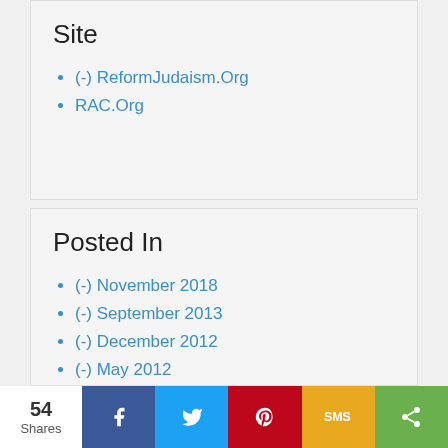Site
(-) ReformJudaism.Org
RAC.Org
Posted In
(-) November 2018
(-) September 2013
(-) December 2012
(-) May 2012
54 Shares | Facebook | Twitter | Pinterest | SMS | Share